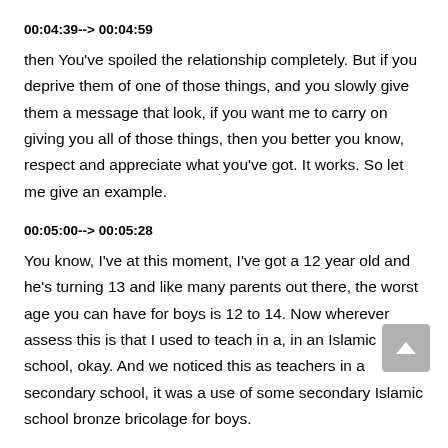00:04:39--> 00:04:59
then You've spoiled the relationship completely. But if you deprive them of one of those things, and you slowly give them a message that look, if you want me to carry on giving you all of those things, then you better you know, respect and appreciate what you've got. It works. So let me give an example.
00:05:00--> 00:05:28
You know, I've at this moment, I've got a 12 year old and he's turning 13 and like many parents out there, the worst age you can have for boys is 12 to 14. Now wherever assess this is that I used to teach in a, in an Islamic school, okay. And we noticed this as teachers in a secondary school, it was a use of some secondary Islamic school bronze bricolage for boys.